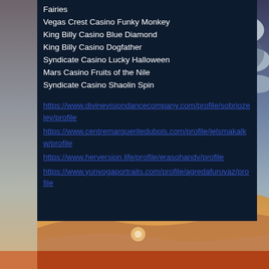Fairies
Vegas Crest Casino Funky Monkey
King Billy Casino Blue Diamond
King Billy Casino Dogfather
Syndicate Casino Lucky Halloween
Mars Casino Fruits of the Nile
Syndicate Casino Shaolin Spin
https://www.divinevisiondancecompany.com/profile/sobriozeley/profile
https://www.centremargueritedubois.com/profile/jelsmakalkw/profile
https://www.herversion.life/profile/erasohandv/profile
https://www.yunyogaportraits.com/profile/agredafuruyaz/profile
[Figure (illustration): Desert and stormy sky landscape background illustration with sand dunes, dramatic clouds, and warm sunset colors at the bottom]